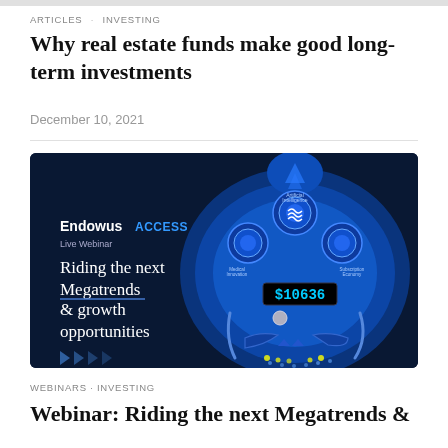ARTICLES · INVESTING
Why real estate funds make good long-term investments
December 10, 2021
[Figure (illustration): Endowus ACCESS Live Webinar promotional image titled 'Riding the next Megatrends & growth opportunities' with a futuristic blue pinball machine graphic featuring AI, Medical Innovation, Subscription Economy themes and a score display showing $10636]
WEBINARS · INVESTING
Webinar: Riding the next Megatrends &